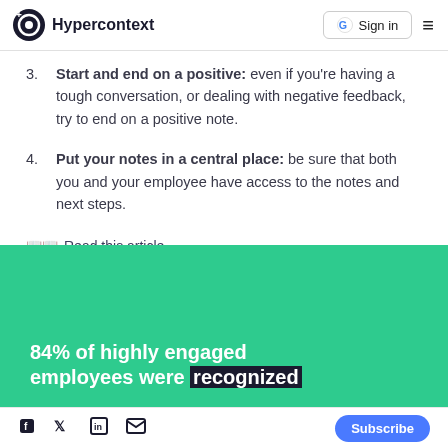Hypercontext | Sign in
3. Start and end on a positive: even if you're having a tough conversation, or dealing with negative feedback, try to end on a positive note.
4. Put your notes in a central place: be sure that both you and your employee have access to the notes and next steps.
📖 Read this article
[Figure (infographic): Green banner with white bold text: '84% of highly engaged employees were recognized']
Social icons: Facebook, Twitter, LinkedIn, Email | Subscribe button